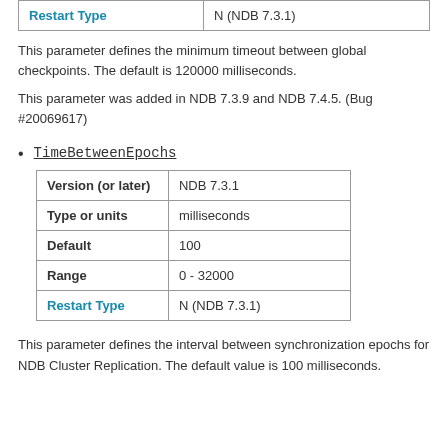| Restart Type |  |
| --- | --- |
| Restart Type | N (NDB 7.3.1) |
This parameter defines the minimum timeout between global checkpoints. The default is 120000 milliseconds.
This parameter was added in NDB 7.3.9 and NDB 7.4.5. (Bug #20069617)
TimeBetweenEpochs
| Version (or later) | NDB 7.3.1 |
| --- | --- |
| Version (or later) | NDB 7.3.1 |
| Type or units | milliseconds |
| Default | 100 |
| Range | 0 - 32000 |
| Restart Type | N (NDB 7.3.1) |
This parameter defines the interval between synchronization epochs for NDB Cluster Replication. The default value is 100 milliseconds.